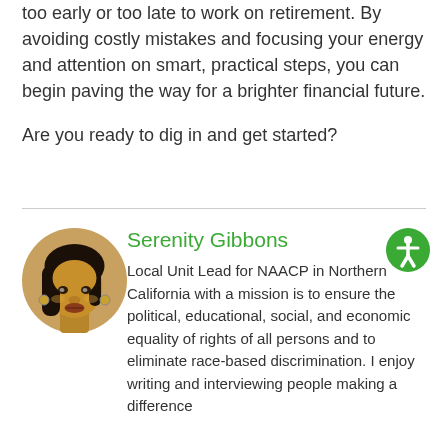too early or too late to work on retirement. By avoiding costly mistakes and focusing your energy and attention on smart, practical steps, you can begin paving the way for a brighter financial future.
Are you ready to dig in and get started?
[Figure (photo): Circular portrait photo of Serenity Gibbons, a Black woman with braided hair]
Serenity Gibbons
Local Unit Lead for NAACP in Northern California with a mission is to ensure the political, educational, social, and economic equality of rights of all persons and to eliminate race-based discrimination. I enjoy writing and interviewing people making a difference